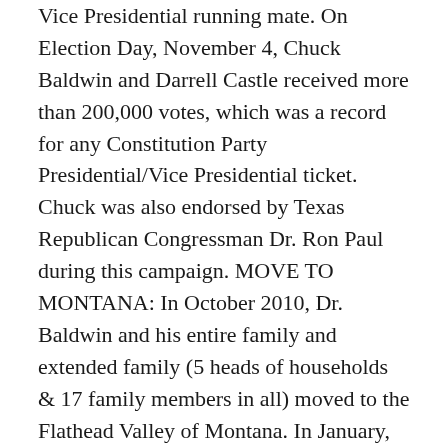Vice Presidential running mate. On Election Day, November 4, Chuck Baldwin and Darrell Castle received more than 200,000 votes, which was a record for any Constitution Party Presidential/Vice Presidential ticket. Chuck was also endorsed by Texas Republican Congressman Dr. Ron Paul during this campaign. MOVE TO MONTANA: In October 2010, Dr. Baldwin and his entire family and extended family (5 heads of households & 17 family members in all) moved to the Flathead Valley of Montana. In January, 2011, the family started a new fellowship, which is named LIBERTY FELLOWSHIP. This is an unorganized, unincorporated, nondenominational, non-501c3 fellowship located in the city of Kalispell. The current meeting place is the Hilton Garden Inn Hotel Conference Center located on Highway 93 South. The service begins each Sunday afternoon at 2pm Mountain Time. The service is also live streamed over the Internet and is faithfully viewed by thousands of